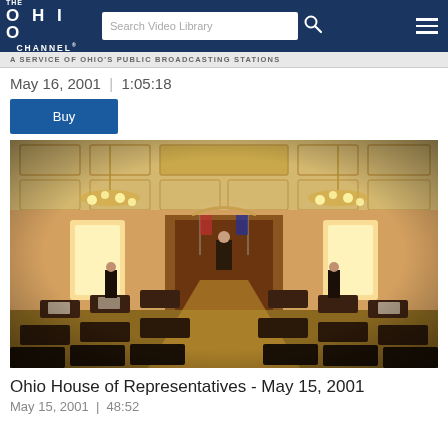THE OHIO CHANNEL - Search Video Library
A SERVICE OF OHIO'S PUBLIC BROADCASTING STATIONS
May 16, 2001 | 1:05:18
Buy
[Figure (photo): Interior of the Ohio House of Representatives chamber, showing a grand ornate ceiling with coffered panels and chandeliers, legislative desks arranged in a semicircle, and a central dais with flags.]
Ohio House of Representatives - May 15, 2001
May 15, 2001 | 48:52